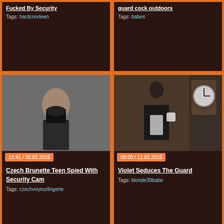Fucked By Security
Tags: hardcoreteen
guard cock outdoors
Tags: babes
[Figure (photo): Woman in black lingerie photographed by security camera]
11:41 / 30.03.2016
Czech Brunette Teen Spied With Security Cam
Tags: czechvoyeurlingerie
[Figure (photo): Woman in maid outfit near wooden furniture and clock]
08:00 / 11.03.2015
Violet Seduces The Guard
Tags: blonde30babe